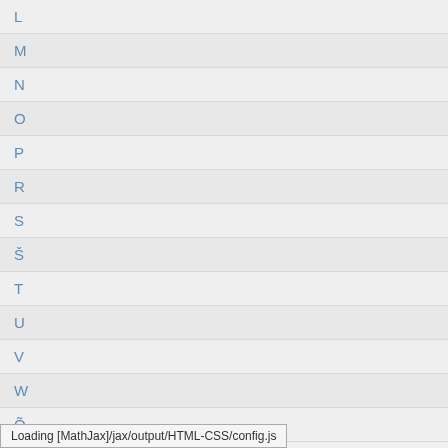L
M
N
O
P
R
S
Š
T
U
V
W
Õ
Loading [MathJax]/jax/output/HTML-CSS/config.js